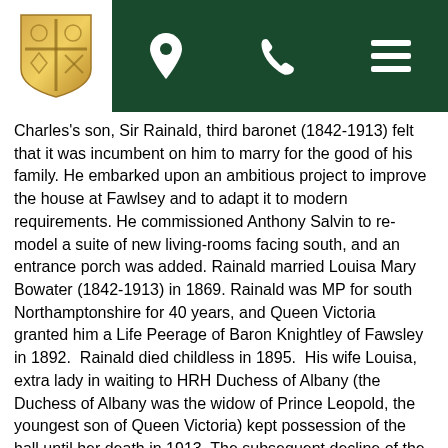[Figure (logo): Gold shield/crest logo on white background]
[Figure (infographic): Dark green navigation bar with white location pin icon, phone icon, and hamburger menu icon]
Charles's son, Sir Rainald, third baronet (1842-1913) felt that it was incumbent on him to marry for the good of his family. He embarked upon an ambitious project to improve the house at Fawlsey and to adapt it to modern requirements. He commissioned Anthony Salvin to re-model a suite of new living-rooms facing south, and an entrance porch was added. Rainald married Louisa Mary Bowater (1842-1913) in 1869. Rainald was MP for south Northamptonshire for 40 years, and Queen Victoria granted him a Life Peerage of Baron Knightley of Fawsley in 1892. Rainald died childless in 1895. His wife Louisa, extra lady in waiting to HRH Duchess of Albany (the Duchess of Albany was the widow of Prince Leopold, the youngest son of Queen Victoria) kept possession of the hall until her death in 1913. The subsequent decline of the family was dramatic. There being insufficient capital for the will to be proved, the contents of the house were auctioned over a three-week period in 1914.